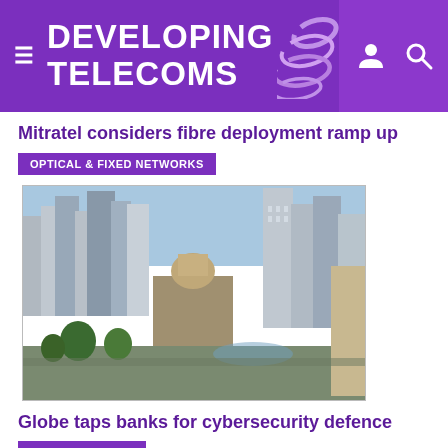DEVELOPING TELECOMS
Mitratel considers fibre deployment ramp up
OPTICAL & FIXED NETWORKS
[Figure (photo): Aerial view of a dense urban cityscape with tall skyscrapers, historic church with dome, streets and buildings in a developing-world metropolitan area.]
Globe taps banks for cybersecurity defence
CYBER SECURITY